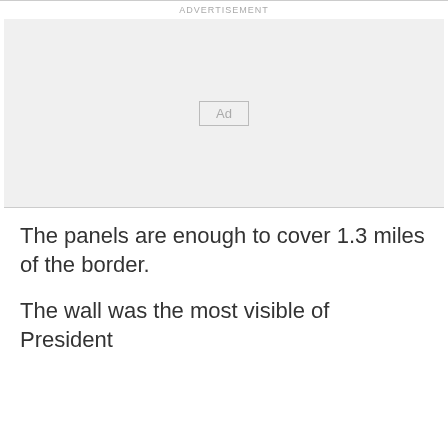[Figure (other): Advertisement placeholder box with 'Ad' label in center]
The panels are enough to cover 1.3 miles of the border.
The wall was the most visible of President